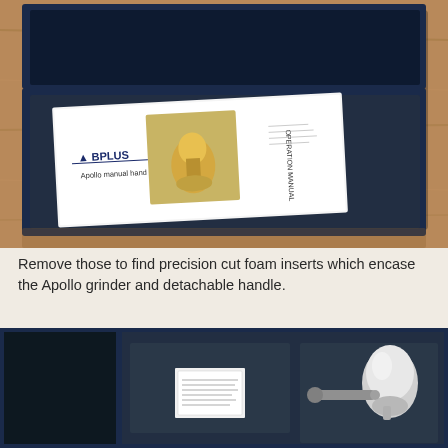[Figure (photo): An open navy blue box with a lid propped open, containing a BPLUS Apollo manual hand grinder operation manual booklet sitting on top of the product packaging, placed on a wooden table surface.]
Remove those to find precision cut foam inserts which encase the Apollo grinder and detachable handle.
[Figure (photo): An open navy blue box revealing the inside with precision cut foam inserts; on the right side a silver/chrome Apollo manual hand grinder and its detachable handle are visible, and on the left a small white label or card is visible in the foam.]